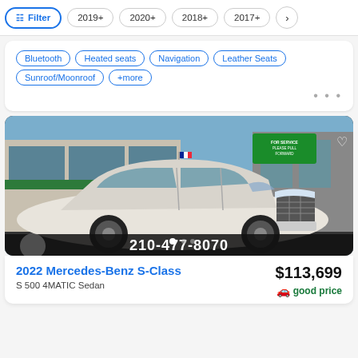Filter | 2019+ | 2020+ | 2018+ | 2017+ | >
Bluetooth | Heated seats | Navigation | Leather Seats | Sunroof/Moonroof | +more
[Figure (photo): White 2022 Mercedes-Benz S-Class S 500 4MATIC Sedan parked in front of a dealership building. A French flag is visible on the car antenna. A green sign reads 'FOR SERVICE PLEASE PULL FORWARD'. Phone number 210-477-8070 shown at the bottom of the image.]
2022 Mercedes-Benz S-Class
S 500 4MATIC Sedan
$113,699
good price